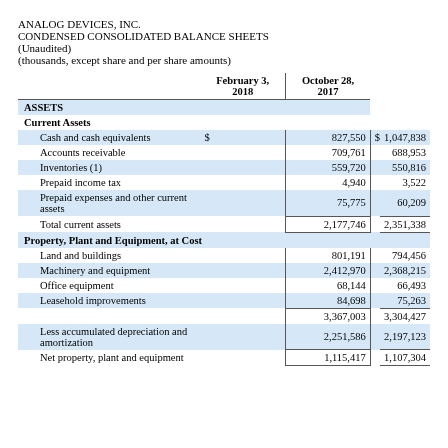ANALOG DEVICES, INC.
CONDENSED CONSOLIDATED BALANCE SHEETS
(Unaudited)
(thousands, except share and per share amounts)
|  | February 3, 2018 | October 28, 2017 |
| --- | --- | --- |
| ASSETS |  |  |
| Current Assets |  |  |
| Cash and cash equivalents | $ 827,550 | $ 1,047,838 |
| Accounts receivable | 709,761 | 688,953 |
| Inventories (1) | 559,720 | 550,816 |
| Prepaid income tax | 4,940 | 3,522 |
| Prepaid expenses and other current assets | 75,775 | 60,209 |
| Total current assets | 2,177,746 | 2,351,338 |
| Property, Plant and Equipment, at Cost |  |  |
| Land and buildings | 801,191 | 794,456 |
| Machinery and equipment | 2,412,970 | 2,368,215 |
| Office equipment | 68,144 | 66,493 |
| Leasehold improvements | 84,698 | 75,263 |
|  | 3,367,003 | 3,304,427 |
| Less accumulated depreciation and amortization | 2,251,586 | 2,197,123 |
| Net property, plant and equipment | 1,115,417 | 1,107,304 |